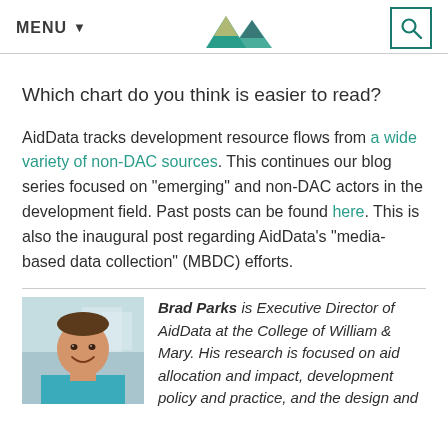MENU
Which chart do you think is easier to read?
AidData tracks development resource flows from a wide variety of non-DAC sources. This continues our blog series focused on "emerging" and non-DAC actors in the development field. Past posts can be found here. This is also the inaugural post regarding AidData's "media-based data collection" (MBDC) efforts.
[Figure (photo): Photo of Brad Parks, a man smiling, in a blue polo shirt in an indoor setting]
Brad Parks is Executive Director of AidData at the College of William & Mary. His research is focused on aid allocation and impact, development policy and practice, and the design and